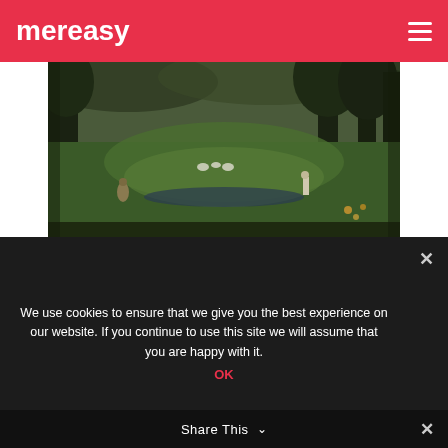mereasy
[Figure (photo): Dark landscape painting showing a pastoral scene with trees, green meadow, figures in the distance, and a cloudy sky]
We use cookies to ensure that we give you the best experience on our website. If you continue to use this site we will assume that you are happy with it.
OK
Share This